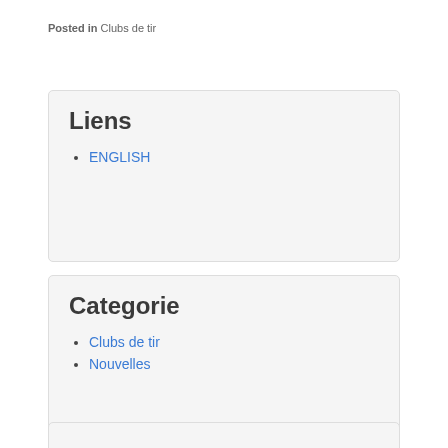Posted in Clubs de tir
Liens
ENGLISH
Categorie
Clubs de tir
Nouvelles